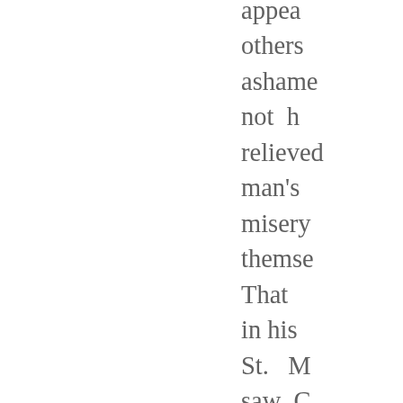appea others ashame not h relieved man's misery themse That in his St. M saw C dressed the ha the ga he given and b